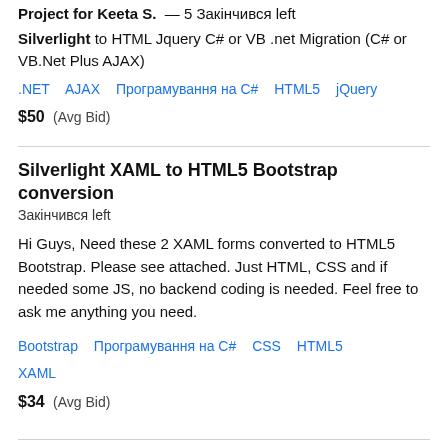Project for Keeta S. — 5 Закінчився left
Silverlight to HTML Jquery C# or VB .net Migration (C# or VB.Net Plus AJAX)
.NET   AJAX   Програмування на C#   HTML5   jQuery
$50  (Avg Bid)
Silverlight XAML to HTML5 Bootstrap conversion
Закінчився left
Hi Guys, Need these 2 XAML forms converted to HTML5 Bootstrap. Please see attached. Just HTML, CSS and if needed some JS, no backend coding is needed. Feel free to ask me anything you need.
Bootstrap   Програмування на C#   CSS   HTML5   XAML
$34  (Avg Bid)